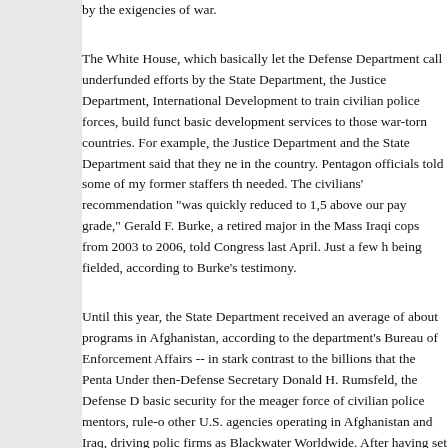by the exigencies of war.
The White House, which basically let the Defense Department call... underfunded efforts by the State Department, the Justice Department... International Development to train civilian police forces, build functioning... basic development services to those war-torn countries. For example... the Justice Department and the State Department said that they needed... in the country. Pentagon officials told some of my former staffers that... needed. The civilians' recommendation "was quickly reduced to 1,500... above our pay grade," Gerald F. Burke, a retired major in the Massachusetts... Iraqi cops from 2003 to 2006, told Congress last April. Just a few hundred... being fielded, according to Burke's testimony.
Until this year, the State Department received an average of about... programs in Afghanistan, according to the department's Bureau of... Enforcement Affairs -- in stark contrast to the billions that the Pentagon... Under then-Defense Secretary Donald H. Rumsfeld, the Defense Department... basic security for the meager force of civilian police mentors, rule-of-law... other U.S. agencies operating in Afghanistan and Iraq, driving police training... firms as Blackwater Worldwide. After having set the rest of the U.S.... authorities then declared that the other agencies' unsuccessful policing... leadership and took them over -- after brutal interagency battles at...
The result of letting the Pentagon take such thorough charge of the... forces is that these units, in both Iraq and Afghanistan, have been... producing police officers who look more like militia members than cops... now risk becoming paramilitary groups, well armed with U.S. equipment... over Iraq and Afghanistan's nascent democracies once we leave.
Or consider another problem with the rising influence of the Pentagon... ongoing plague of poppy farming and heroin production in Afghanistan...